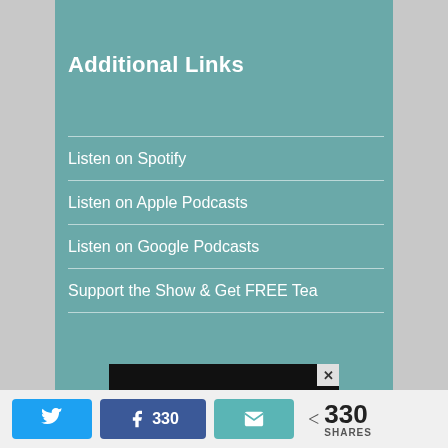Additional Links
Listen on Spotify
Listen on Apple Podcasts
Listen on Google Podcasts
Support the Show & Get FREE Tea
[Figure (photo): Advertisement banner showing 'UNCLE VANYA' text with subtitle 'You make me feel happy...' on a dark background with close button]
330 SHARES